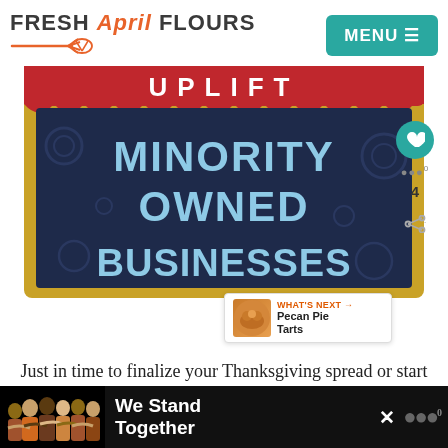FRESH April FLOURS — MENU
[Figure (illustration): Uplift Minority Owned Businesses banner image — a marquee sign with red scalloped top reading UPLIFT, dark navy board with large teal/white text reading MINORITY OWNED BUSINESSES, framed in gold, with dark background showing subtle bubble/circle patterns]
Just in time to finalize your Thanksgiving spread or start thinking about your Christmas menu, today I'm sharing my new favorite pie recipe with you in the
[Figure (infographic): What's Next callout showing Pecan Pie Tarts with a small food photo]
[Figure (infographic): Advertisement banner: people group photo on left with We Stand Together text in white on dark background, with close button]
4